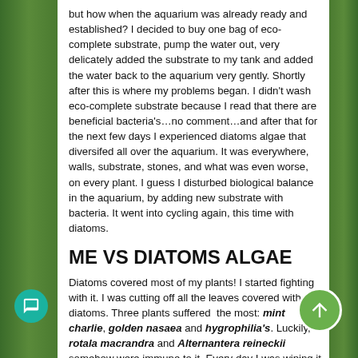but how when the aquarium was already ready and established? I decided to buy one bag of eco-complete substrate, pump the water out, very delicately added the substrate to my tank and added the water back to the aquarium very gently. Shortly after this is where my problems began. I didn't wash eco-complete substrate because I read that there are beneficial bacteria's…no comment…and after that for the next few days I experienced diatoms algae that diversifed all over the aquarium. It was everywhere, walls, substrate, stones, and what was even worse, on every plant. I guess I disturbed biological balance in the aquarium, by adding new substrate with bacteria. It went into cycling again, this time with diatoms.
ME VS DIATOMS ALGAE
Diatoms covered most of my plants! I started fighting with it. I was cutting off all the leaves covered with diatoms. Three plants suffered the most: mint charlie, golden nasaea and hygrophilia's. Luckily, rotala macrandra and Alternantera reineckii somehow were immune to it. Every day I was wiping it off from every possible surface. When I was wiping the walls I would use a new cotton ball for each